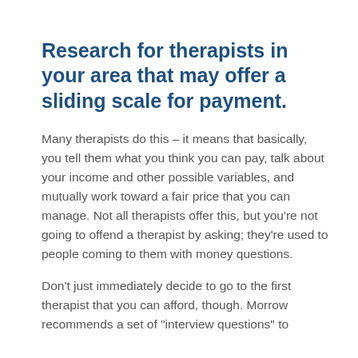Research for therapists in your area that may offer a sliding scale for payment.
Many therapists do this – it means that basically, you tell them what you think you can pay, talk about your income and other possible variables, and mutually work toward a fair price that you can manage. Not all therapists offer this, but you're not going to offend a therapist by asking; they're used to people coming to them with money questions.
Don't just immediately decide to go to the first therapist that you can afford, though. Morrow recommends a set of "interview questions" to